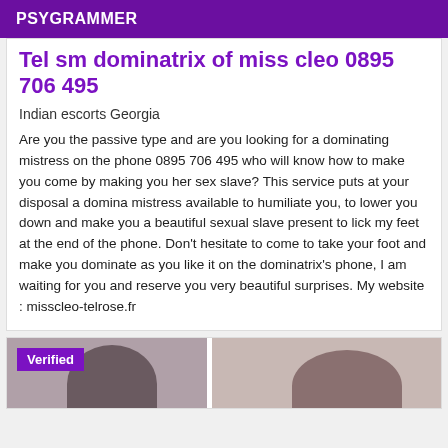PSYGRAMMER
Tel sm dominatrix of miss cleo 0895 706 495
Indian escorts Georgia
Are you the passive type and are you looking for a dominating mistress on the phone 0895 706 495 who will know how to make you come by making you her sex slave? This service puts at your disposal a domina mistress available to humiliate you, to lower you down and make you a beautiful sexual slave present to lick my feet at the end of the phone. Don't hesitate to come to take your foot and make you dominate as you like it on the dominatrix's phone, I am waiting for you and reserve you very beautiful surprises. My website : misscleo-telrose.fr
[Figure (photo): Bottom card showing two people with a purple Verified badge]